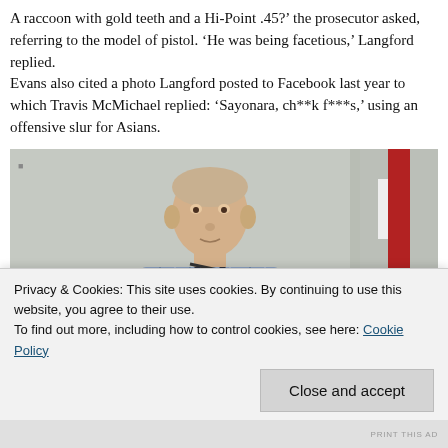A raccoon with gold teeth and a Hi-Point .45?' the prosecutor asked, referring to the model of pistol. 'He was being facetious,' Langford replied.
Evans also cited a photo Langford posted to Facebook last year to which Travis McMichael replied: 'Sayonara, ch**k f***s,' using an offensive slur for Asians.
[Figure (photo): A man in a blue/white checkered shirt sits at what appears to be a witness stand or podium with a microphone. An American flag is visible in the background to the right. The setting appears to be a courtroom.]
Privacy & Cookies: This site uses cookies. By continuing to use this website, you agree to their use.
To find out more, including how to control cookies, see here: Cookie Policy
Close and accept